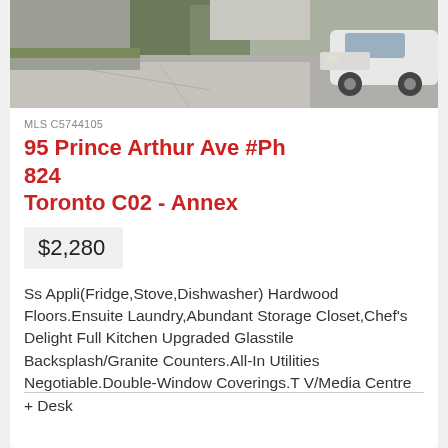[Figure (photo): Street-level photo showing a driveway/sidewalk area with a white car parked at right, trees and building visible in background]
MLS C5744105
95 Prince Arthur Ave #Ph 824
Toronto C02 - Annex
$2,280
Ss Appli(Fridge,Stove,Dishwasher) Hardwood Floors.Ensuite Laundry,Abundant Storage Closet,Chef's Delight Full Kitchen Upgraded Glasstile Backsplash/Granite Counters.All-In Utilities Negotiable.Double-Window Coverings.TV/Media Centre + Desk